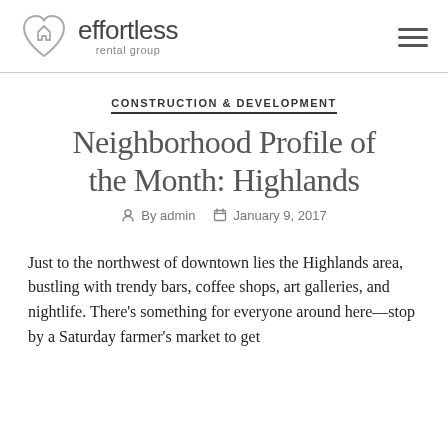effortless rental group
CONSTRUCTION & DEVELOPMENT
Neighborhood Profile of the Month: Highlands
By admin  January 9, 2017
Just to the northwest of downtown lies the Highlands area, bustling with trendy bars, coffee shops, art galleries, and nightlife. There's something for everyone around here—stop by a Saturday farmer's market to get